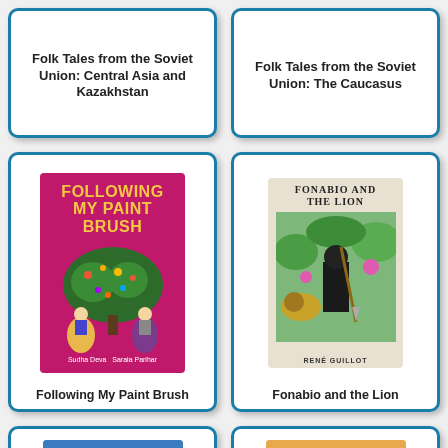[Figure (illustration): Book card: Folk Tales from the Soviet Union: Central Asia and Kazakhstan — top portion, title visible]
Folk Tales from the Soviet Union: Central Asia and Kazakhstan
[Figure (illustration): Book card: Folk Tales from the Soviet Union: The Caucasus — top portion, title visible]
Folk Tales from the Soviet Union: The Caucasus
[Figure (illustration): Book card: Following My Paint Brush — cover image with magenta background and folk art tree, figures in traditional dress]
Following My Paint Brush
[Figure (illustration): Book card: Fonabio and the Lion — cover image showing man in jungle with lion, illustrated by Rene Guillot]
Fonabio and the Lion
[Figure (illustration): Book card: partial view — blue cover with bird illustration]
[Figure (illustration): Book card: partial view — orange cover with figure illustration]